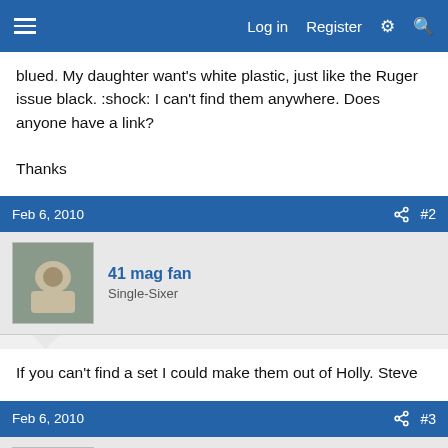Log in   Register
blued. My daughter want's white plastic, just like the Ruger issue black. :shock: I can't find them anywhere. Does anyone have a link?

Thanks
Feb 6, 2010  #2
41 mag fan
Single-Sixer
If you can't find a set I could make them out of Holly. Steve
Feb 6, 2010  #3
BlkHawk73
Hunter